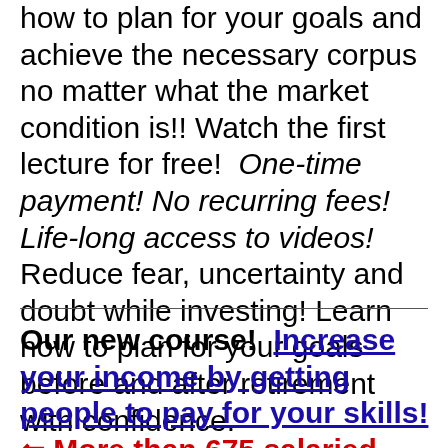how to plan for your goals and achieve the necessary corpus no matter what the market condition is!! Watch the first lecture for free! One-time payment! No recurring fees! Life-long access to videos! Reduce fear, uncertainty and doubt while investing! Learn how to plan for your goals before and after retirement with confidence.
Our new course!  Increase your income by getting people to pay for your skills! ⇐ More than 675 salaried employees, entrepreneurs and